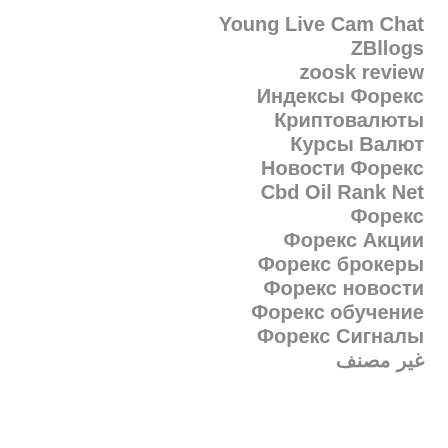Young Live Cam Chat
ZBllogs
zoosk review
Индексы Форекс
Криптовалюты
Курсы Валют
Новости Форекс
Cbd Oil Rank Net
Форекс
Форекс Акции
Форекс брокеры
Форекс новости
Форекс обучение
Форекс Сигналы
غير مصنف